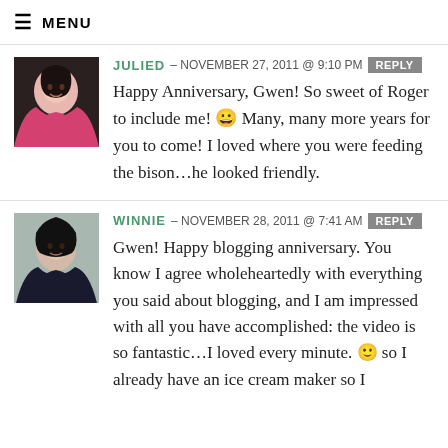≡ MENU
JULIED — NOVEMBER 27, 2011 @ 9:10 PM REPLY
Happy Anniversary, Gwen! So sweet of Roger to include me! 😀 Many, many more years for you to come! I loved where you were feeding the bison…he looked friendly.
WINNIE — NOVEMBER 28, 2011 @ 7:41 AM REPLY
Gwen! Happy blogging anniversary. You know I agree wholeheartedly with everything you said about blogging, and I am impressed with all you have accomplished: the video is so fantastic…I loved every minute. 🙂 so I already have an ice cream maker so I